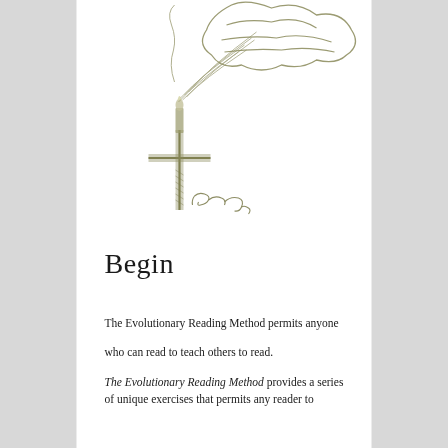[Figure (illustration): A pencil sketch illustration in olive/khaki tones showing a cross with a candle on top, smoke rising upward and billowing into a cloud-like form at the top right. An artist's signature (resembling 'Zekele' or similar) is written in cursive below the cross.]
Begin
The Evolutionary Reading Method permits anyone who can read to teach others to read.
The Evolutionary Reading Method provides a series of unique exercises that permits any reader to